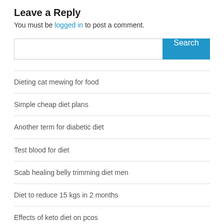Leave a Reply
You must be logged in to post a comment.
[Figure (other): Search bar with text input field and blue Search button]
Dieting cat mewing for food
Simple cheap diet plans
Another term for diabetic diet
Test blood for diet
Scab healing belly trimming diet men
Diet to reduce 15 kgs in 2 months
Effects of keto diet on pcos
Carb loss indian diet